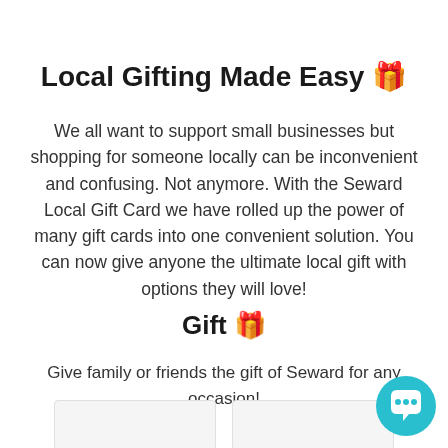Local Gifting Made Easy 🎁
We all want to support small businesses but shopping for someone locally can be inconvenient and confusing. Not anymore. With the Seward Local Gift Card we have rolled up the power of many gift cards into one convenient solution. You can now give anyone the ultimate local gift with options they will love!
Gift 🎁
Give family or friends the gift of Seward for any occasion!